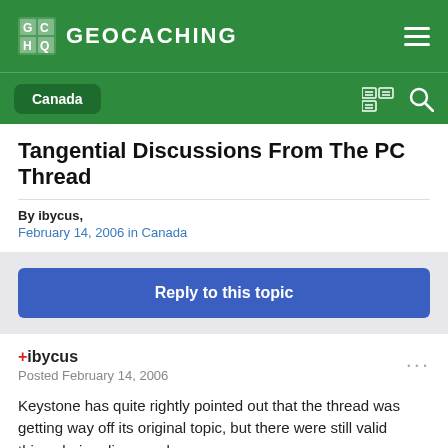GEOCACHING
Tangential Discussions From The PC Thread
By ibycus,
February 14, 2006 in Canada
Reply to this topic
+ibycus
Posted February 14, 2006
Keystone has quite rightly pointed out that the thread was getting way off its original topic, but there were still valid things being discussed.